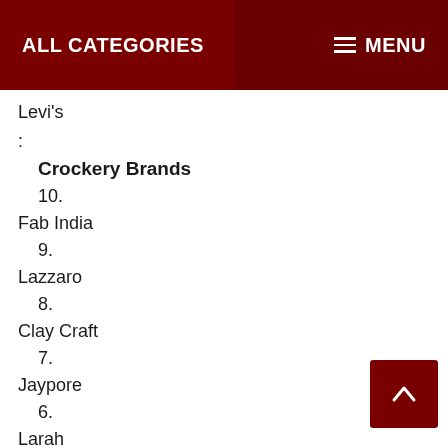ALL CATEGORIES  MENU
Levi's
:
Crockery Brands
10.
Fab India
9.
Lazzaro
8.
Clay Craft
7.
Jaypore
6.
Larah
5.